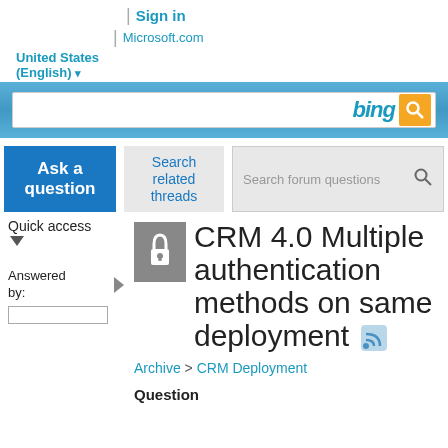Sign in | Microsoft.com | United States (English)
[Figure (screenshot): Bing search bar with blue gradient background and orange search button]
Ask a question
Search related threads
Search forum questions
Quick access
Answered by:
CRM 4.0 Multiple authentication methods on same deployment
Archive > CRM Deployment
Question